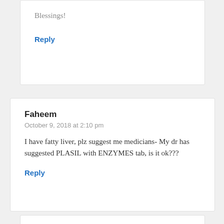Blessings!
Reply
Faheem
October 9, 2018 at 2:10 pm
I have fatty liver, plz suggest me medicians- My dr has suggested PLASIL with ENZYMES tab, is it ok???
Reply
Dr. Jockers